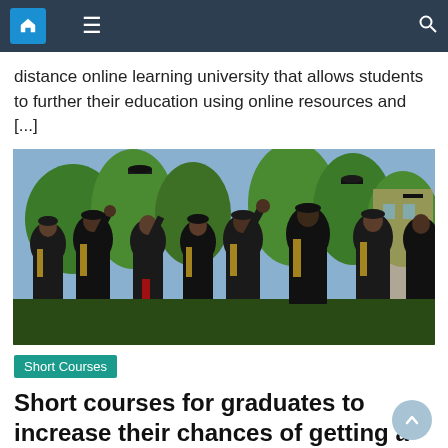Navigation bar with home, menu, and search icons
distance online learning university that allows students to further their education using online resources and [...]
[Figure (photo): Group of graduates in black gowns with yellow trim tossing their mortarboard caps in the air, outdoors with trees in background]
Short Courses
Short courses for graduates to increase their chances of getting a job
March 16, 2022   Eugene R. Hans